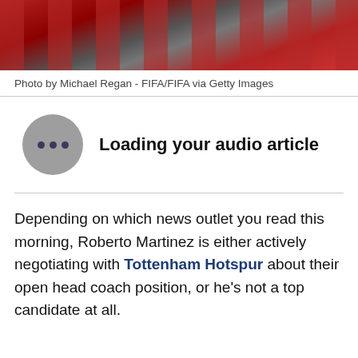[Figure (photo): Sports photograph showing soccer/football players in red jerseys with a person in dark clothing, likely post-match scene]
Photo by Michael Regan - FIFA/FIFA via Getty Images
Loading your audio article
Depending on which news outlet you read this morning, Roberto Martinez is either actively negotiating with Tottenham Hotspur about their open head coach position, or he's not a top candidate at all.